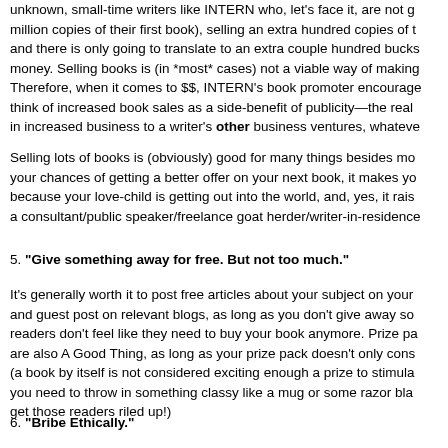unknown, small-time writers like INTERN who, let's face it, are not going to sell a million copies of their first book), selling an extra hundred copies of their book here and there is only going to translate to an extra couple hundred bucks of income money. Selling books is (in *most* cases) not a viable way of making money. Therefore, when it comes to $$, INTERN's book promoter encourages authors to think of increased book sales as a side-benefit of publicity—the real value lies in increased business to a writer's other business ventures, whatever those may be.
Selling lots of books is (obviously) good for many things besides money: it increases your chances of getting a better offer on your next book, it makes you feel warm inside because your love-child is getting out into the world, and, yes, it raises your profile as a consultant/public speaker/freelance goat herder/writer-in-residence.
5. "Give something away for free. But not too much."
It's generally worth it to post free articles about your subject on your blog and guest post on relevant blogs, as long as you don't give away so much that readers don't feel like they need to buy your book anymore. Prize packs are also A Good Thing, as long as your prize pack doesn't only consist of (a book by itself is not considered exciting enough a prize to stimulate—you need to throw in something classy like a mug or some razor blades to get those readers riled up!)
6. "Bribe Ethically."